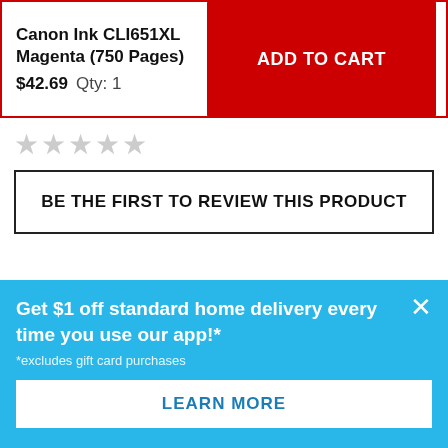Canon Ink CLI651XL Magenta (750 Pages) $42.69 Qty: 1
ADD TO CART
[Figure (other): Five empty/grey star rating icons]
BE THE FIRST TO REVIEW THIS PRODUCT
Popular products
Get $1 off standard home delivery every time you use our app!*
*excludes gift card purchases
LEARN MORE